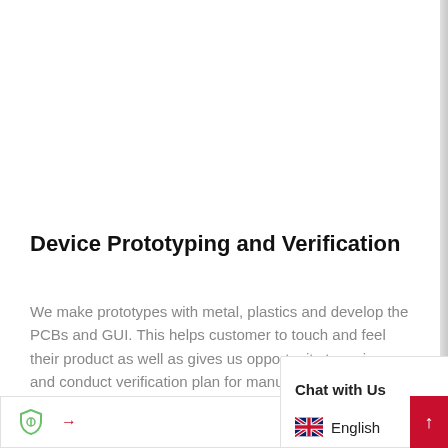Device Prototyping and Verification
We make prototypes with metal, plastics and develop the PCBs and GUI. This helps customer to touch and feel their product as well as gives us opportunity to review and conduct verification plan for manufacturing process. Together review and verification point po dossier for CE mark or other lo ess
[Figure (screenshot): Bottom UI overlay showing a navigation arrow button with shield icon on the left, and a 'Chat with Us' popup with Skype icon and English language selector, and a crimson scroll-up button on the far right.]